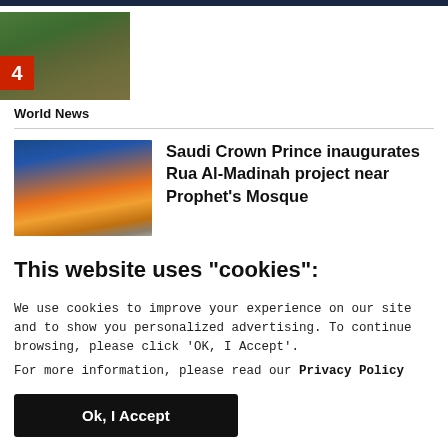[Figure (photo): Aerial/landscape thumbnail image with number badge '4' on a red background in the lower-left corner]
World News
[Figure (photo): Sunset landscape photo with orange sky and mountain silhouette, thumbnail for article about Saudi Crown Prince]
Saudi Crown Prince inaugurates Rua Al-Madinah project near Prophet's Mosque
This website uses "cookies":
We use cookies to improve your experience on our site and to show you personalized advertising. To continue browsing, please click ‘OK, I Accept’.
For more information, please read our Privacy Policy
Ok, I Accept